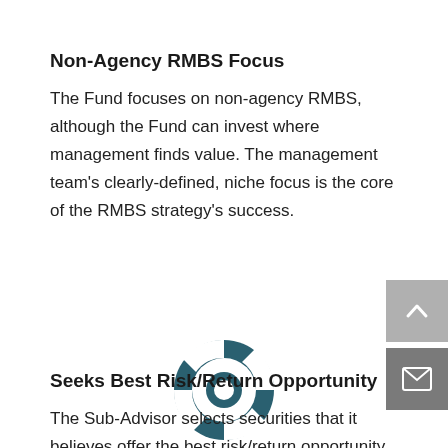Non-Agency RMBS Focus
The Fund focuses on non-agency RMBS, although the Fund can invest where management finds value. The management team's clearly-defined, niche focus is the core of the RMBS strategy's success.
[Figure (illustration): A teal/dark cyan life preserver ring icon centered on the page.]
Seeks Best Risk/Return Opportunity
The Sub-Advisor selects securities that it believes offer the best risk/return opportunity